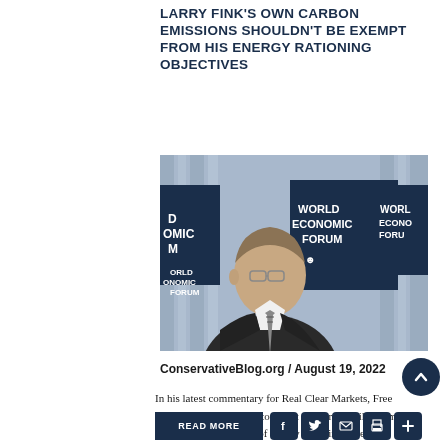LARRY FINK'S OWN CARBON EMISSIONS SHOULDN'T BE EXEMPT FROM HIS ENERGY RATIONING OBJECTIVES
[Figure (photo): Larry Fink seated in front of World Economic Forum banners/signs at a Davos-style event. He is wearing a dark suit and striped tie, with light blue curtains visible in the background.]
ConservativeBlog.org / August 19, 2022
In his latest commentary for Real Clear Markets, Free Enterprise Project Director Scott Shepard details the many negative consequences of energy rationing to reduce carbon emissions, and how the …